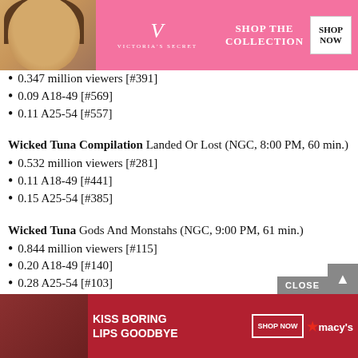[Figure (illustration): Victoria's Secret advertisement banner with model, VS logo, SHOP THE COLLECTION text, and SHOP NOW button on pink background]
0.347 million viewers [#391]
0.09 A18-49 [#569]
0.11 A25-54 [#557]
Wicked Tuna Compilation Landed Or Lost (NGC, 8:00 PM, 60 min.)
0.532 million viewers [#281]
0.11 A18-49 [#441]
0.15 A25-54 [#385]
Wicked Tuna Gods And Monstahs (NGC, 9:00 PM, 61 min.)
0.844 million viewers [#115]
0.20 A18-49 [#140]
0.28 A25-54 [#103]
Drain the Oceans Escape Alcatraz (NGC, 10:01 PM, 60 min.)
0.453 million viewers [#388]
0.10 A18-49 [#484]
0.1...
[Figure (illustration): Macy's advertisement banner with KISS BORING LIPS GOODBYE text, SHOP NOW button, and Macy's star logo on red background with model]
CLOSE